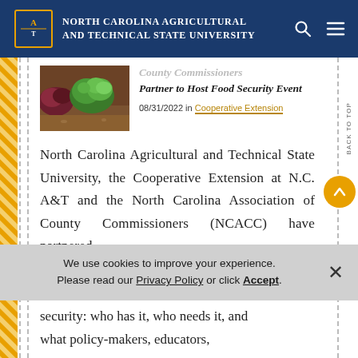North Carolina Agricultural and Technical State University
[Figure (photo): Photo of leafy greens growing in a garden bed]
County Commissioners Partner to Host Food Security Event
08/31/2022 in Cooperative Extension
North Carolina Agricultural and Technical State University, the Cooperative Extension at N.C. A&T and the North Carolina Association of County Commissioners (NCACC) have partnered
We use cookies to improve your experience. Please read our Privacy Policy or click Accept.
security: who has it, who needs it, and what policy-makers, educators,